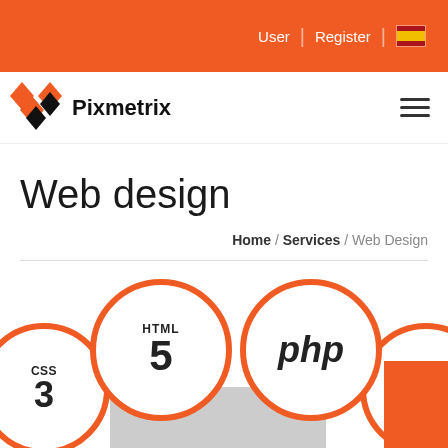User | Register [flag]
[Figure (logo): Pixmetrix logo with diamond/triangle graphic and text 'Pixmetrix']
Web design
Home / Services / Web Design
[Figure (illustration): Web technology circles: CSS3, HTML5, php, JavaScript icons partially visible at bottom of page]